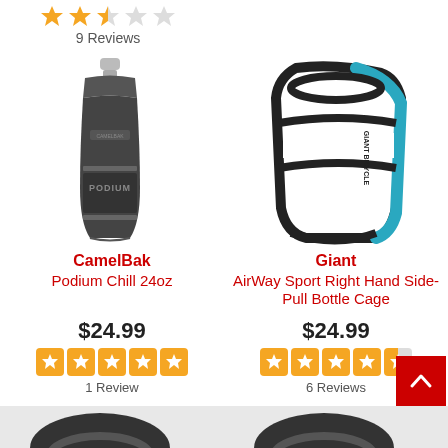[Figure (other): Star rating 2 out of 5 orange stars with 3 empty stars]
9 Reviews
[Figure (photo): CamelBak Podium Chill 24oz dark grey insulated water bottle]
[Figure (photo): Giant AirWay Sport Right Hand Side-Pull Bottle Cage in black and teal]
CamelBak
Podium Chill 24oz
Giant
AirWay Sport Right Hand Side-Pull Bottle Cage
$24.99
$24.99
[Figure (other): 5 out of 5 star rating orange squares]
1 Review
[Figure (other): 4.5 out of 5 star rating orange squares]
6 Reviews
[Figure (other): Back to top red button with white chevron up arrow]
[Figure (photo): Partial product image at bottom left]
[Figure (photo): Partial product image at bottom right]